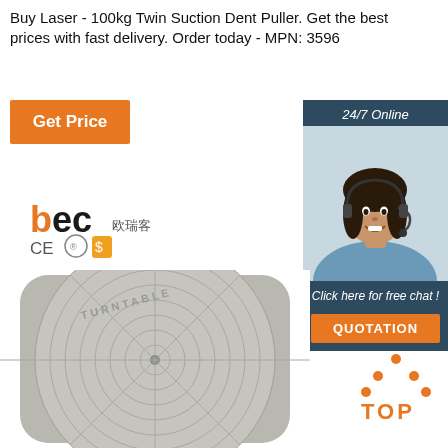Buy Laser - 100kg Twin Suction Dent Puller. Get the best prices with fast delivery. Order today - MPN: 3596
Get Price
[Figure (infographic): Sidebar banner with '24/7 Online' header, customer service representative with headset, 'Click here for free chat!' text, and orange QUOTATION button, on dark teal/navy background]
[Figure (logo): BEC brand logo with Chinese characters and CE certification mark and dollar badge icons]
[Figure (photo): Close-up photo of a grey circular turntable/suction dent puller device with concentric circle grid pattern and TURNTABLE text embossed on top]
[Figure (infographic): Orange TOP badge with triangle arrow dots above the word TOP in orange bold text]